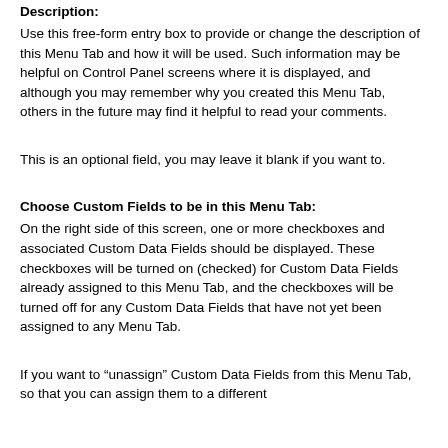Description:
Use this free-form entry box to provide or change the description of this Menu Tab and how it will be used. Such information may be helpful on Control Panel screens where it is displayed, and although you may remember why you created this Menu Tab, others in the future may find it helpful to read your comments.
This is an optional field, you may leave it blank if you want to.
Choose Custom Fields to be in this Menu Tab:
On the right side of this screen, one or more checkboxes and associated Custom Data Fields should be displayed. These checkboxes will be turned on (checked) for Custom Data Fields already assigned to this Menu Tab, and the checkboxes will be turned off for any Custom Data Fields that have not yet been assigned to any Menu Tab.
If you want to “unassign” Custom Data Fields from this Menu Tab, so that you can assign them to a different